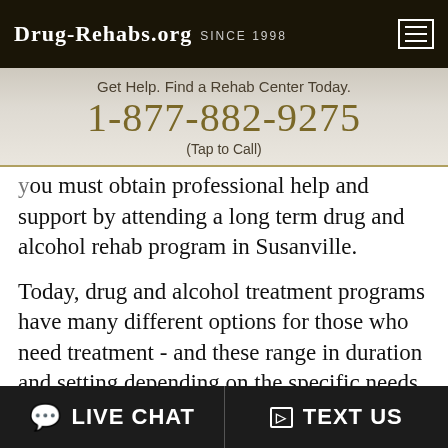Drug-Rehabs.org Since 1998
Get Help. Find a Rehab Center Today.
1-877-882-9275
(Tap to Call)
you must obtain professional help and support by attending a long term drug and alcohol rehab program in Susanville.
Today, drug and alcohol treatment programs have many different options for those who need treatment - and these range in duration and setting depending on the specific needs and desires of the patients.
Albeit you will find some relief by going to short-term rehab lasting for 28 to 30 days, in most instances, you will see that long-term treatment works better.
💬 LIVE CHAT    ▷ TEXT US